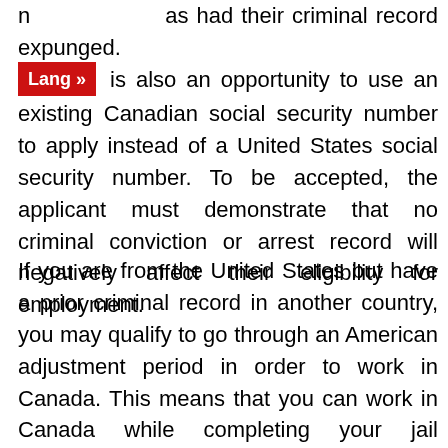n as had their criminal record expunged. There is also an opportunity to use an existing Canadian social security number to apply instead of a United States social security number. To be accepted, the applicant must demonstrate that no criminal conviction or arrest record will negatively affect their eligibility for employment.
If you are from the United States but have a prior criminal record in another country, you may qualify to go through an American adjustment period in order to work in Canada. This means that you can work in Canada while completing your jail sentence in the United States. This is beneficial if you have a felony conviction but noonies on your record in the United States. You can work in Canada during this